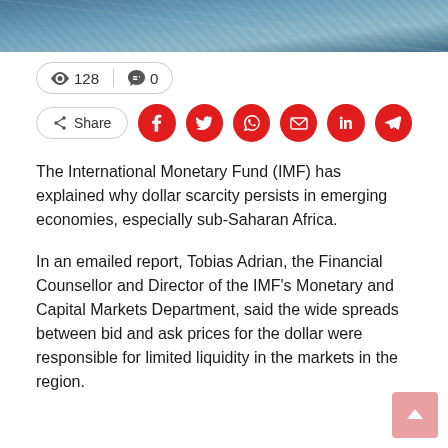[Figure (photo): Architectural photo of glass building facade with blue tones]
👁 128  💬 0
Share (social media icons: Facebook, Twitter, WhatsApp, Email, LinkedIn, Telegram)
The International Monetary Fund (IMF) has explained why dollar scarcity persists in emerging economies, especially sub-Saharan Africa.
In an emailed report, Tobias Adrian, the Financial Counsellor and Director of the IMF's Monetary and Capital Markets Department, said the wide spreads between bid and ask prices for the dollar were responsible for limited liquidity in the markets in the region.